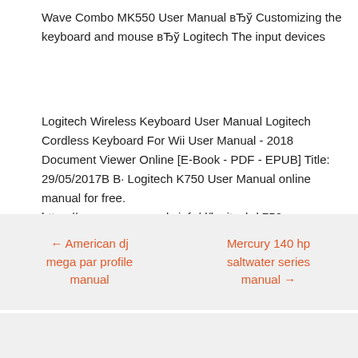Wave Combo MK550 User Manual вЂў Customizing the keyboard and mouse вЂў Logitech The input devices
Logitech Wireless Keyboard User Manual Logitech Cordless Keyboard For Wii User Manual - 2018 Document Viewer Online [E-Book - PDF - EPUB] Title: 29/05/2017В В· Logitech K750 User manual online for free. https://www.usermanuals.info/d/logitech-k750-user-manual
← American dj mega par profile manual
Mercury 140 hp saltwater series manual →
Search …